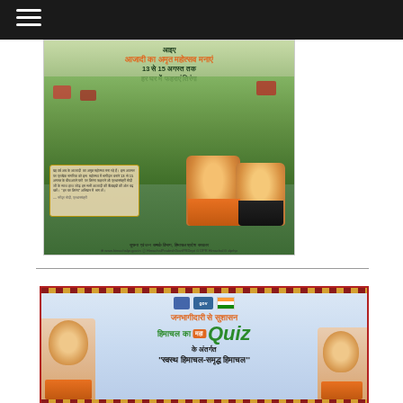[Figure (photo): Government advertisement for Azadi Ka Amrit Mahotsav - Har Ghar Tiranga campaign, showing hill station landscape with Indian flags and leaders, issued by Himachal Pradesh Government]
[Figure (infographic): Himachal Ka Maha Quiz advertisement - Janabhagidari Se Sushasan campaign with text 'Swasth Himachal Samridh Himachal', showing two political figures on either side]